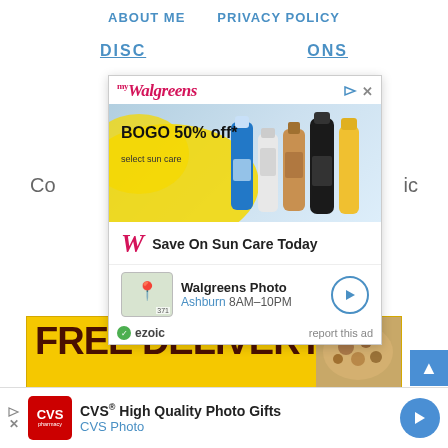ABOUT ME   PRIVACY POLICY
DISC... ONS
[Figure (screenshot): Walgreens myWalgreens advertisement showing BOGO 50% off select sun care products with sunscreen bottles, Save On Sun Care Today tagline, and Walgreens Photo Ashburn 8AM-10PM location info. Ezoic report this ad label at bottom.]
Co... ic
[Figure (screenshot): FREE DELIVERY advertisement on yellow background with dark brown text, with food image on right side.]
[Figure (screenshot): CVS Pharmacy ad: CVS High Quality Photo Gifts, CVS Photo]